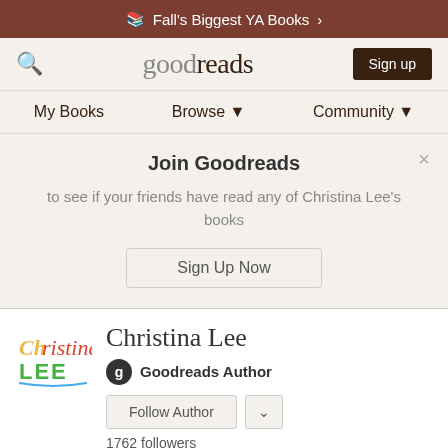Fall's Biggest YA Books >
[Figure (logo): Goodreads logo and navigation bar with search icon and Sign up button]
My Books   Browse ▼   Community ▼
Join Goodreads
to see if your friends have read any of Christina Lee's books
Sign Up Now
Christina Lee
Goodreads Author
Follow Author
1762 followers
Christina writes romance in different sub-genres, mostly with LGBTQ